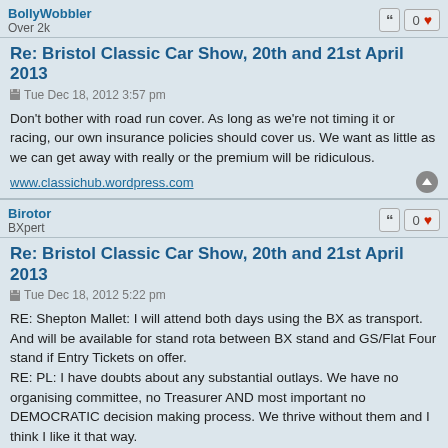BollyWobbler
Over 2k
Re: Bristol Classic Car Show, 20th and 21st April 2013
Tue Dec 18, 2012 3:57 pm
Don't bother with road run cover. As long as we're not timing it or racing, our own insurance policies should cover us. We want as little as we can get away with really or the premium will be ridiculous.
www.classichub.wordpress.com
Birotor
BXpert
Re: Bristol Classic Car Show, 20th and 21st April 2013
Tue Dec 18, 2012 5:22 pm
RE: Shepton Mallet: I will attend both days using the BX as transport. And will be available for stand rota between BX stand and GS/Flat Four stand if Entry Tickets on offer.
RE: PL: I have doubts about any substantial outlays. We have no organising committee, no Treasurer AND most important no DEMOCRATIC decision making process. We thrive without them and I think I like it that way.